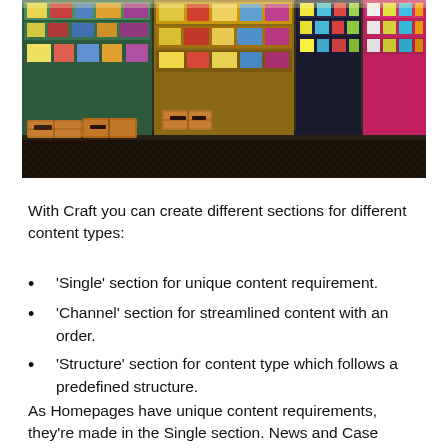[Figure (photo): A grocery store aisle with shelves stocked with colorful products, wooden crates on the floor, and overhead lighting illuminating the products.]
With Craft you can create different sections for different content types:
'Single' section for unique content requirement.
'Channel' section for streamlined content with an order.
'Structure' section for content type which follows a predefined structure.
As Homepages have unique content requirements, they're made in the Single section. News and Case Studies need